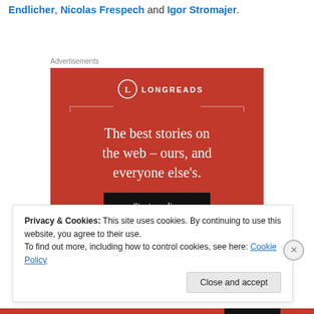Endlicher, Nicolas Frespech and Igor Stromajer.
Advertisements
[Figure (illustration): Longreads advertisement banner on red background with text: 'The best stories on the web – ours, and everyone else's.' with a 'Start reading' button and Longreads logo at top.]
Privacy & Cookies: This site uses cookies. By continuing to use this website, you agree to their use.
To find out more, including how to control cookies, see here: Cookie Policy
Close and accept